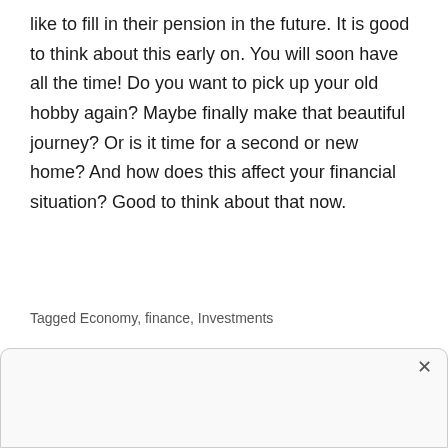like to fill in their pension in the future. It is good to think about this early on. You will soon have all the time! Do you want to pick up your old hobby again? Maybe finally make that beautiful journey? Or is it time for a second or new home? And how does this affect your financial situation? Good to think about that now.
Tagged Economy, finance, Investments